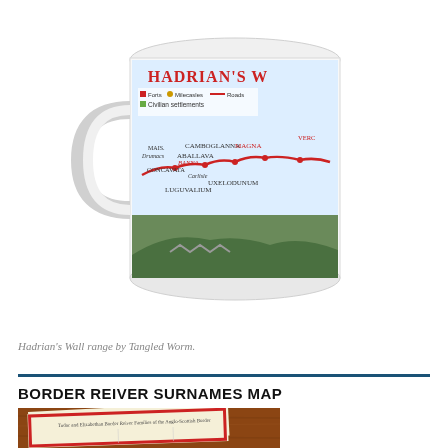[Figure (photo): A white ceramic mug featuring a map of Hadrian's Wall with place names including Forts, Milecasles, Roads, Civilian settlements, Banna, Camboglanna, Aballava, Magna, Concavata, Carlisle, Uxelodunum, Luguvalium, and a landscape photograph of the wall on the lower portion.]
Hadrian's Wall range by Tangled Worm.
BORDER REIVER SURNAMES MAP
[Figure (photo): A photograph of a map laid on a wooden table showing Tudor and Elizabethan Border Reiver Families of the Anglo-Scottish Border, with red border and text columns.]